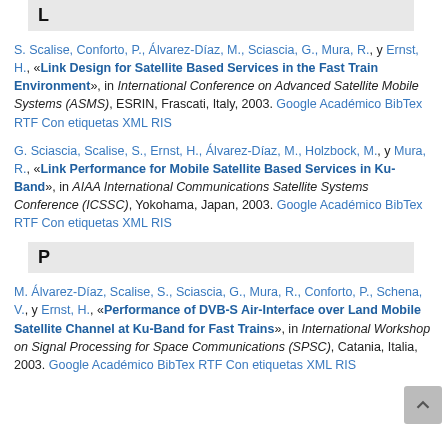L
S. Scalise, Conforto, P., Álvarez-Díaz, M., Sciascia, G., Mura, R., y Ernst, H., «Link Design for Satellite Based Services in the Fast Train Environment», in International Conference on Advanced Satellite Mobile Systems (ASMS), ESRIN, Frascati, Italy, 2003. Google Académico BibTex RTF Con etiquetas XML RIS
G. Sciascia, Scalise, S., Ernst, H., Álvarez-Díaz, M., Holzbock, M., y Mura, R., «Link Performance for Mobile Satellite Based Services in Ku-Band», in AIAA International Communications Satellite Systems Conference (ICSSC), Yokohama, Japan, 2003. Google Académico BibTex RTF Con etiquetas XML RIS
P
M. Álvarez-Díaz, Scalise, S., Sciascia, G., Mura, R., Conforto, P., Schena, V., y Ernst, H., «Performance of DVB-S Air-Interface over Land Mobile Satellite Channel at Ku-Band for Fast Trains», in International Workshop on Signal Processing for Space Communications (SPSC), Catania, Italia, 2003. Google Académico BibTex RTF Con etiquetas XML RIS